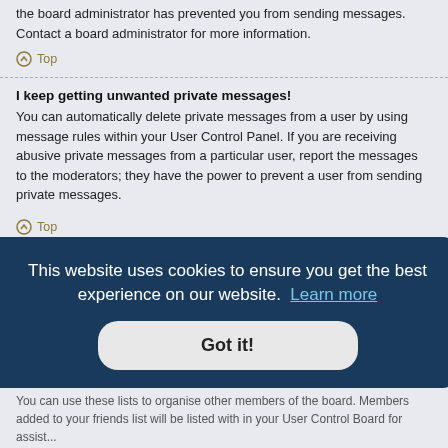the board administrator has prevented you from sending messages. Contact a board administrator for more information.
Top
I keep getting unwanted private messages!
You can automatically delete private messages from a user by using message rules within your User Control Panel. If you are receiving abusive private messages from a particular user, report the messages to the moderators; they have the power to prevent a user from sending private messages.
Top
I have received a spamming or abusive email from someone on this board!
We are sorry to hear that. The email form feature of this board includes safeguards to try and track users who send such posts, so email the board administrator with a full copy of the email you received. It is very important that ...ne email.
[Figure (screenshot): Cookie consent overlay with dark blue background. Text: 'This website uses cookies to ensure you get the best experience on our website. Learn more' and a 'Got it!' button.]
You can use these lists to organise other members of the board. Members added to your friends list will be listed within your User Control Panel...